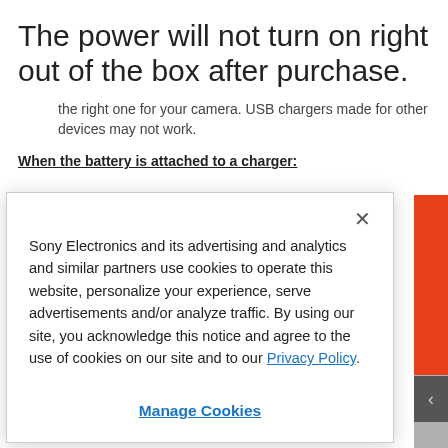The power will not turn on right out of the box after purchase.
the right one for your camera. USB chargers made for other devices may not work.
When the battery is attached to a charger:
Sony Electronics and its advertising and analytics and similar partners use cookies to operate this website, personalize your experience, serve advertisements and/or analyze traffic. By using our site, you acknowledge this notice and agree to the use of cookies on our site and to our Privacy Policy.
Manage Cookies